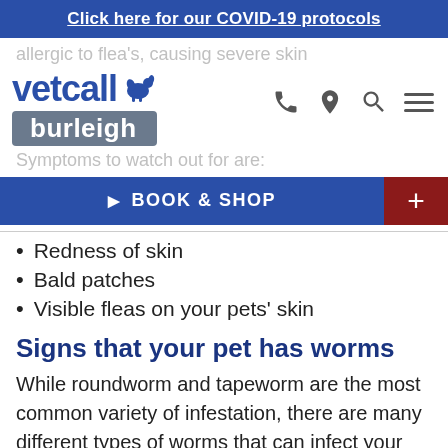Click here for our COVID-19 protocols
allergic to fleas, causing severe skin
[Figure (logo): Vetcall Burleigh logo with dog silhouette and navigation icons (phone, location pin, search, menu)]
Symptoms to watch out for are:
BOOK & SHOP
Redness of skin
Bald patches
Visible fleas on your pets' skin
Signs that your pet has worms
While roundworm and tapeworm are the most common variety of infestation, there are many different types of worms that can infect your pet. Some worms are transferred through the environment and